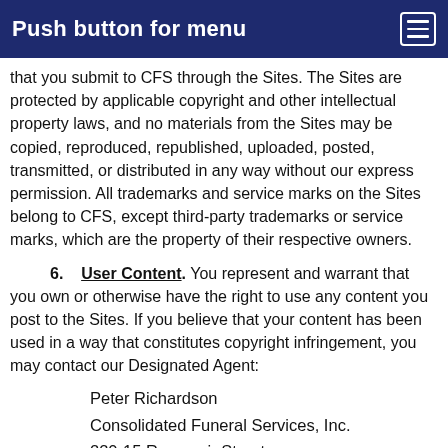Push button for menu
that you submit to CFS through the Sites. The Sites are protected by applicable copyright and other intellectual property laws, and no materials from the Sites may be copied, reproduced, republished, uploaded, posted, transmitted, or distributed in any way without our express permission. All trademarks and service marks on the Sites belong to CFS, except third-party trademarks or service marks, which are the property of their respective owners.
6. User Content. You represent and warrant that you own or otherwise have the right to use any content you post to the Sites. If you believe that your content has been used in a way that constitutes copyright infringement, you may contact our Designated Agent:
Peter Richardson
Consolidated Funeral Services, Inc.
220-15 Reservoir Street
Phone: 888-891-6181